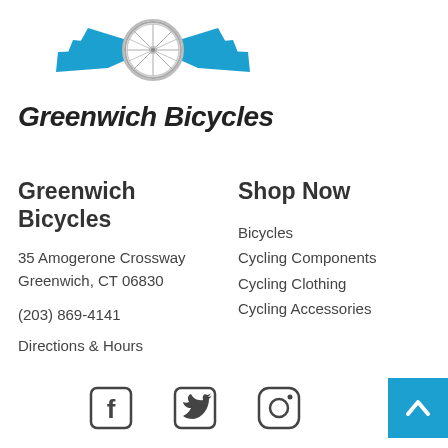[Figure (logo): Greenwich Bicycles logo with winged bicycle wheel in blue and white, and bold italic text 'Greenwich Bicycles']
Greenwich Bicycles
35 Amogerone Crossway
Greenwich, CT 06830
(203) 869-4141
Directions & Hours
Shop Now
Bicycles
Cycling Components
Cycling Clothing
Cycling Accessories
[Figure (illustration): Social media icons: Facebook, Twitter, Instagram]